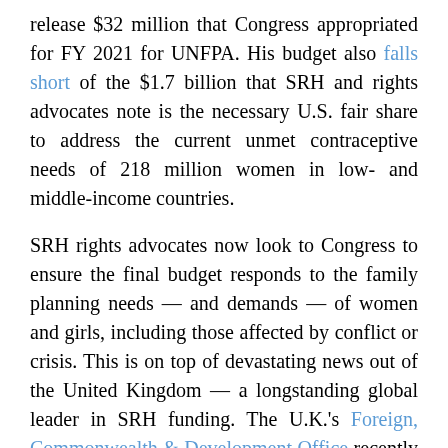release $32 million that Congress appropriated for FY 2021 for UNFPA. His budget also falls short of the $1.7 billion that SRH and rights advocates note is the necessary U.S. fair share to address the current unmet contraceptive needs of 218 million women in low- and middle-income countries.
SRH rights advocates now look to Congress to ensure the final budget responds to the family planning needs — and demands — of women and girls, including those affected by conflict or crisis. This is on top of devastating news out of the United Kingdom — a longstanding global leader in SRH funding. The U.K.'s Foreign, Commonwealth & Development Office recently announced it will slash UNFPA supplies funding by 85% and its core funding by 60%.
It is now critical that humanitarian organizations double down on holding all donor governments accountable for their global commitments to women's reproductive health